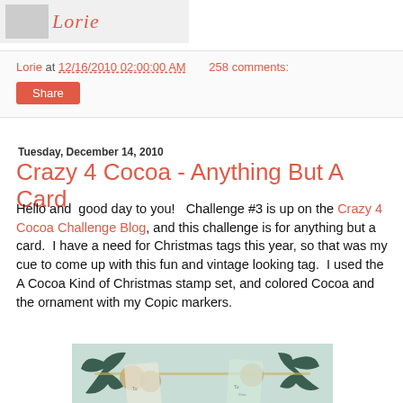[Figure (logo): Blog logo with grey placeholder image and cursive 'Lorie' text in coral/red]
Lorie at 12/16/2010 02:00:00 AM   258 comments:
Share
Tuesday, December 14, 2010
Crazy 4 Cocoa - Anything But A Card
Hello and  good day to you!   Challenge #3 is up on the Crazy 4 Cocoa Challenge Blog, and this challenge is for anything but a card.  I have a need for Christmas tags this year, so that was my cue to come up with this fun and vintage looking tag.  I used the  A Cocoa Kind of Christmas stamp set, and colored Cocoa and the ornament with my Copic markers.
[Figure (photo): Photo of Christmas gift tags with dark green ribbon bows and craft decorations on a light background]